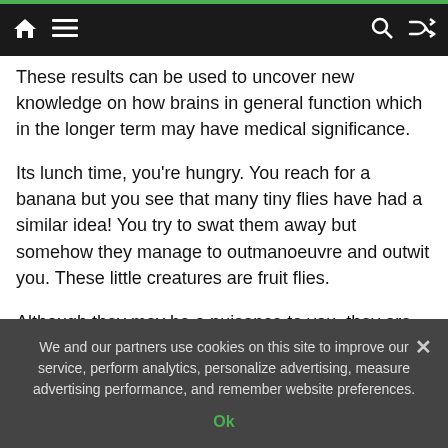Navigation bar with home, menu, search, and shuffle icons
These results can be used to uncover new knowledge on how brains in general function which in the longer term may have medical significance.
Its lunch time, you’re hungry. You reach for a banana but you see that many tiny flies have had a similar idea! You try to swat them away but somehow they manage to outmanoeuvre and outwit you. These little creatures are fruit flies.
Although they may be a nuisance to you, they are greatly appreciated by scientists around the world. Known to the scientific community as Drosophila
We and our partners use cookies on this site to improve our service, perform analytics, personalize advertising, measure advertising performance, and remember website preferences.
Ok